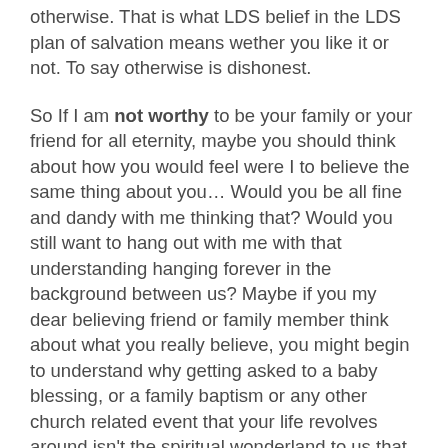otherwise. That is what LDS belief in the LDS plan of salvation means wether you like it or not. To say otherwise is dishonest.
So If I am not worthy to be your family or your friend for all eternity, maybe you should think about how you would feel were I to believe the same thing about you… Would you be all fine and dandy with me thinking that? Would you still want to hang out with me with that understanding hanging forever in the background between us? Maybe if you my dear believing friend or family member think about what you really believe, you might begin to understand why getting asked to a baby blessing, or a family baptism or any other church related event that your life revolves around isn't the spiritual wonderland to us that is to you. Because if you are honest with yourself you really believe we're not worthy of your presence in the next life. Now tell me again why you think I would have no problem with that belief?